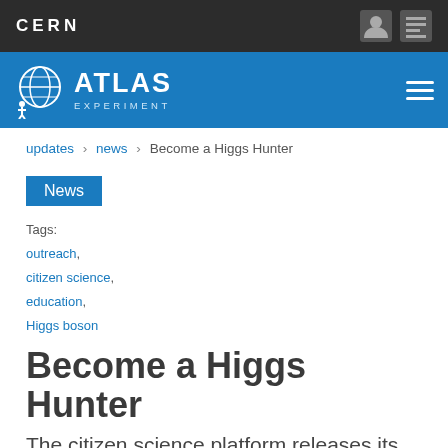CERN
[Figure (logo): ATLAS Experiment logo with globe figure on blue header bar]
updates > news > Become a Higgs Hunter
News
Tags: outreach, citizen science, education, Higgs boson
Become a Higgs Hunter
The citizen science platform releases its first paper.
5 December 2016 | By Katarina Anthony